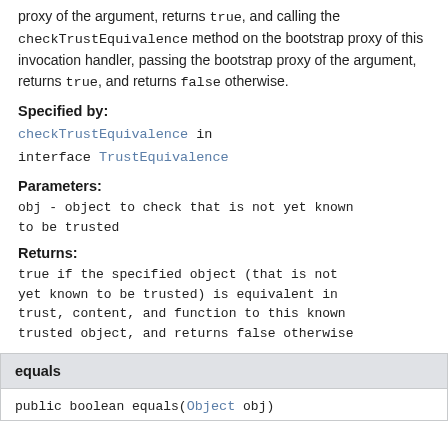proxy of the argument, returns true, and calling the checkTrustEquivalence method on the bootstrap proxy of this invocation handler, passing the bootstrap proxy of the argument, returns true, and returns false otherwise.
Specified by:
checkTrustEquivalence in interface TrustEquivalence
Parameters:
obj - object to check that is not yet known to be trusted
Returns:
true if the specified object (that is not yet known to be trusted) is equivalent in trust, content, and function to this known trusted object, and returns false otherwise
equals
public boolean equals(Object obj)